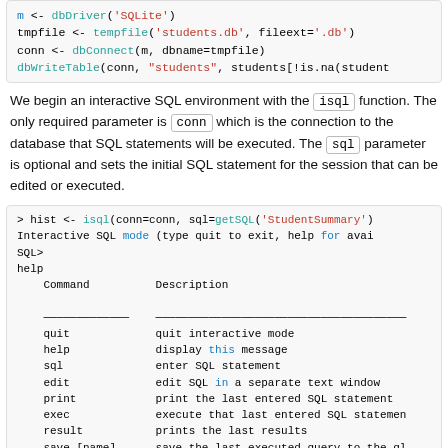[Figure (screenshot): R code block showing dbDriver, tempfile, dbConnect, dbWriteTable calls]
We begin an interactive SQL environment with the isql function. The only required parameter is conn which is the connection to the database that SQL statements will be executed. The sql parameter is optional and sets the initial SQL statement for the session that can be edited or executed.
[Figure (screenshot): R interactive SQL session code block showing isql call, Interactive SQL mode message, help command output with Command/Description table listing quit, help, sql, edit, print, exec, result, save [name] commands, SLQ> prompt, and print]